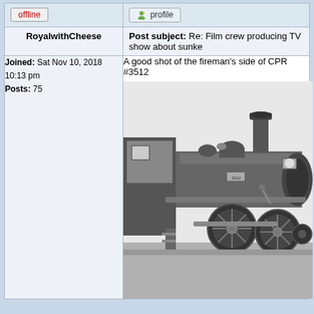offline
profile
RoyalwithCheese
Post subject: Re: Film crew producing TV show about sunker
Joined: Sat Nov 10, 2018 10:13 pm
Posts: 75
A good shot of the fireman's side of CPR #3512
[Figure (photo): Black and white photograph of a steam locomotive (CPR #3512) showing the fireman's side, with the cab, boiler, smokestack, headlight, and running gear visible.]